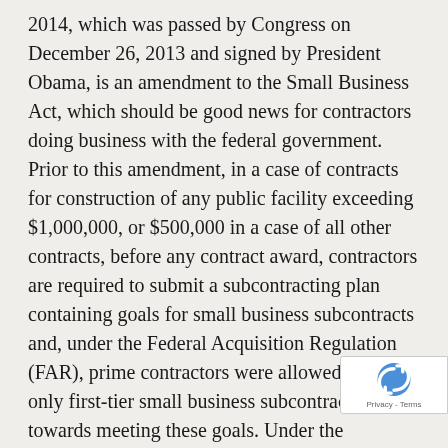2014, which was passed by Congress on December 26, 2013 and signed by President Obama, is an amendment to the Small Business Act, which should be good news for contractors doing business with the federal government. Prior to this amendment, in a case of contracts for construction of any public facility exceeding $1,000,000, or $500,000 in a case of all other contracts, before any contract award, contractors are required to submit a subcontracting plan containing goals for small business subcontracts and, under the Federal Acquisition Regulation (FAR), prime contractors were allowed to count only first-tier small business subcontractors towards meeting these goals. Under the amendment, in determining whether or not a prime contractor has attained its goals, a prime contractor can claim credit for small business concerns performing as first-tier subcontractors and for subcontractors performing at any tier, in an amount equal to the dollar value of the work awarded to such small business concerns. Now prime contractors can receive credit against their goals for
[Figure (other): reCAPTCHA badge with logo and Privacy - Terms text]